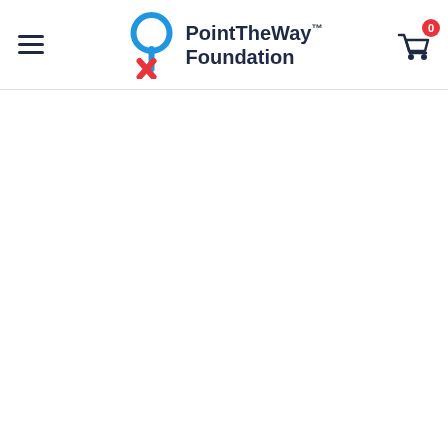[Figure (logo): PointTheWay Foundation logo with hamburger menu on the left and shopping cart with 0 badge on the right, forming a website header navigation bar]